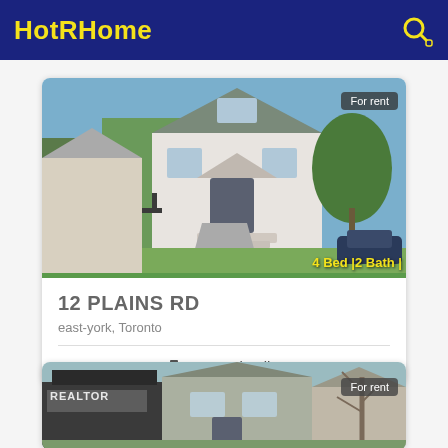HotRHome
[Figure (photo): Exterior photo of a two-storey house with front yard and driveway, labeled 'For rent' with badge '4 Bed | 2 Bath |']
12 PLAINS RD
east-york, Toronto
More details
[Figure (photo): Partial exterior photo of another house with REALTOR sign, labeled 'For rent']